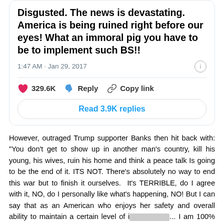[Figure (screenshot): Tweet screenshot showing bold text: 'Disgusted. The news is devastating. America is being ruined right before our eyes! What an immoral pig you have to be to implement such BS!!' with timestamp 1:47 AM · Jan 29, 2017, 329.6K likes, Reply, Copy link, and Read 3.9K replies button.]
However, outraged Trump supporter Banks then hit back with: "You don't get to show up in another man's country, kill his young, his wives, ruin his home and think a peace talk Is going to be the end of it. ITS NOT. There's absolutely no way to end this war but to finish it ourselves.  It's TERRIBLE, do I agree with it, NO, do I personally like what's happening, NO! But I can say that as an American who enjoys her safety and overall ability to maintain a certain level of ignorance... I am 100% shook about open borders and would be realllllllllllly scared for my self and my family if any parts of that war began to become real on this soil."